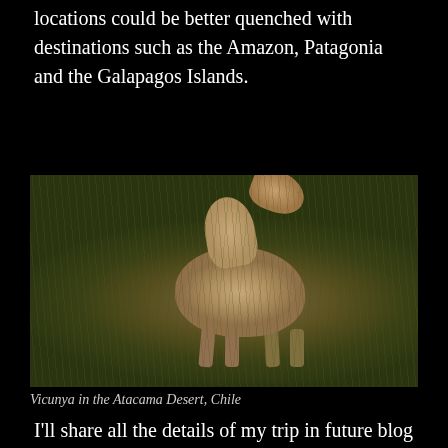locations could be better quenched with destinations such as the Amazon, Patagonia and the Galapagos Islands.
[Figure (photo): A vicuña grazing in a grassy field in the Atacama Desert, Chile. The animal is light tan/beige in color, photographed from the side, bending its head slightly. The background is dry golden-green grass and shrubs.]
Vicunya in the Atacama Desert, Chile
I'll share all the details of my trip in future blog posts,